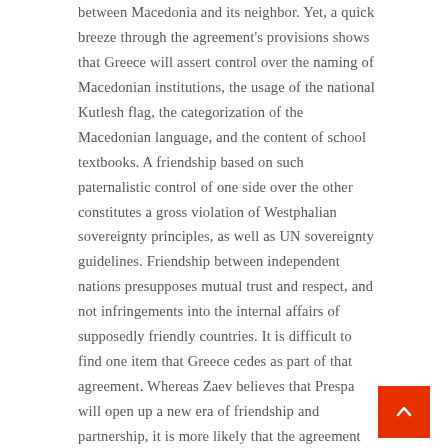between Macedonia and its neighbor. Yet, a quick breeze through the agreement's provisions shows that Greece will assert control over the naming of Macedonian institutions, the usage of the national Kutlesh flag, the categorization of the Macedonian language, and the content of school textbooks. A friendship based on such paternalistic control of one side over the other constitutes a gross violation of Westphalian sovereignty principles, as well as UN sovereignty guidelines. Friendship between independent nations presupposes mutual trust and respect, and not infringements into the internal affairs of supposedly friendly countries. It is difficult to find one item that Greece cedes as part of that agreement. Whereas Zaev believes that Prespa will open up a new era of friendship and partnership, it is more likely that the agreement will provide Greece with hegemony over the adjective Macedonian, and as such have long-term negative effect to Macedonia's economy, history, and culture.